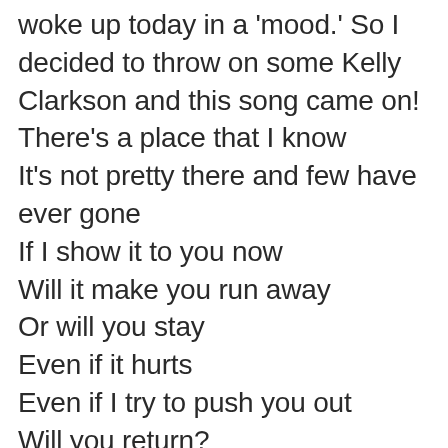woke up today in a 'mood.' So I decided to throw on some Kelly Clarkson and this song came on! There's a place that I know It's not pretty there and few have ever gone If I show it to you now Will it make you run away Or will you stay Even if it hurts Even if I try to push you out Will you return?